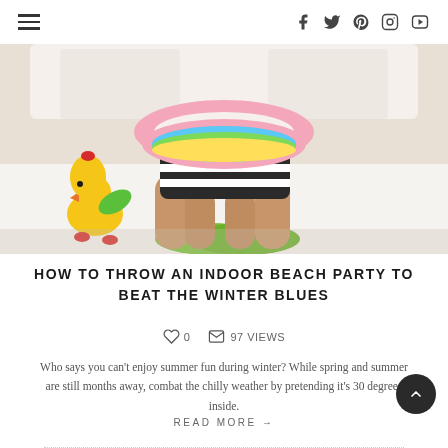≡  [social icons: f, twitter, pinterest, instagram, youtube]
[Figure (photo): Child sitting on a white bed with colorful inflatable pool toys including a pink ring float, a rainbow-striped float, and a yellow duck inflatable, with bare feet visible and green crocs on the bed.]
HOW TO THROW AN INDOOR BEACH PARTY TO BEAT THE WINTER BLUES
♡ 0   ✉ 97 VIEWS
Who says you can't enjoy summer fun during winter? While spring and summer are still months away, combat the chilly weather by pretending it's 30 degrees inside.
READ MORE →